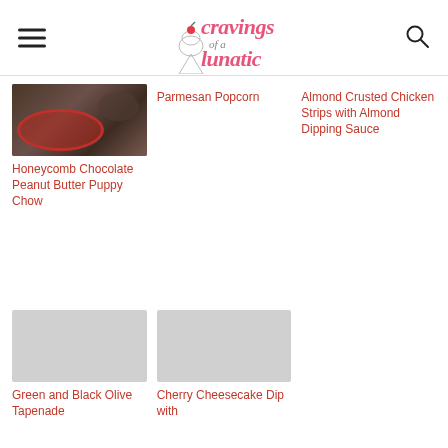Cravings of a Lunatic
[Figure (photo): Photo of honeycomb chocolate peanut butter puppy chow in a red bowl]
Honeycomb Chocolate Peanut Butter Puppy Chow
Parmesan Popcorn
Almond Crusted Chicken Strips with Almond Dipping Sauce
Green and Black Olive Tapenade
Cherry Cheesecake Dip with